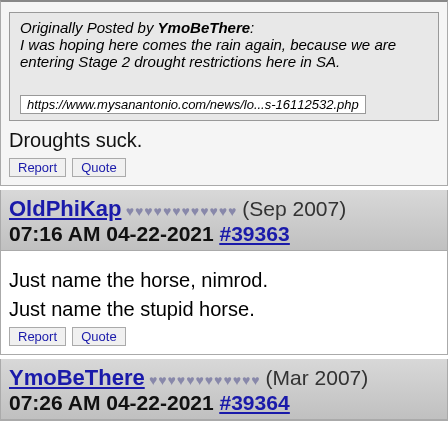Originally Posted by YmoBeThere: I was hoping here comes the rain again, because we are entering Stage 2 drought restrictions here in SA. https://www.mysanantonio.com/news/lo...s-16112532.php
Droughts suck.
Report  Quote
OldPhiKap ♥♥♥♥♥♥♥♥♥♥♥♥ (Sep 2007) 07:16 AM 04-22-2021 #39363
Just name the horse, nimrod.

Just name the stupid horse.
Report  Quote
YmoBeThere ♥♥♥♥♥♥♥♥♥♥♥♥ (Mar 2007) 07:26 AM 04-22-2021 #39364